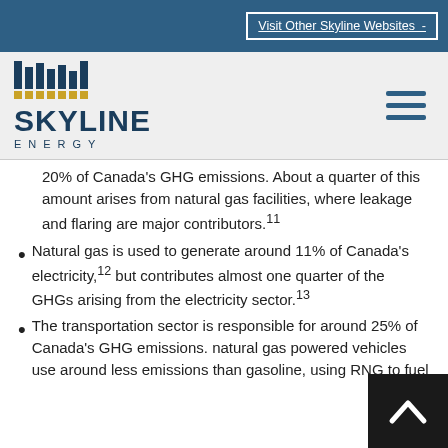Visit Other Skyline Websites
[Figure (logo): Skyline Energy logo with bar-chart icon above the word SKYLINE and ENERGY below in spaced letters]
20% of Canada's GHG emissions. About a quarter of this amount arises from natural gas facilities, where leakage and flaring are major contributors.11
Natural gas is used to generate around 11% of Canada's electricity,12 but contributes almost one quarter of the GHGs arising from the electricity sector.13
The transportation sector is responsible for around 25% of Canada's GHG emissions. natural gas powered vehicles use around less emissions than gasoline, using RNG to fuel vehicles also reduces that by 60-90% f...